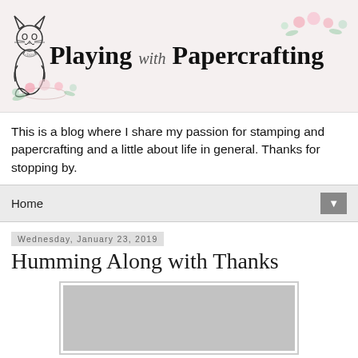[Figure (logo): Playing with Papercrafting blog header banner with a line-art cat illustration on the left, decorative floral elements, and the blog title text 'Playing with Papercrafting']
This is a blog where I share my passion for stamping and papercrafting and a little about life in general. Thanks for stopping by.
Home
Wednesday, January 23, 2019
Humming Along with Thanks
[Figure (photo): A partially visible greeting card or craft project on a light grey/white background]